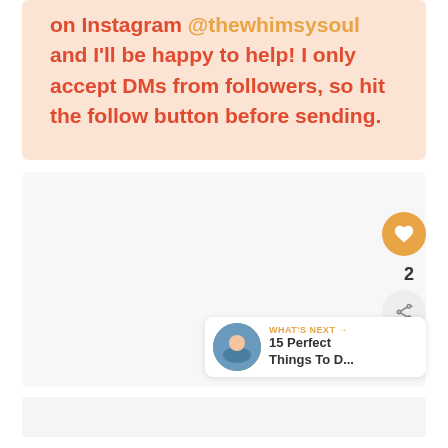on Instagram @thewhimsysoul and I'll be happy to help! I only accept DMs from followers, so hit the follow button before sending.
[Figure (other): Light gray content area with a floating heart (like) button in orange, a share button, count of 2, and a 'What's Next' card showing '15 Perfect Things To D...' with a circular thumbnail photo]